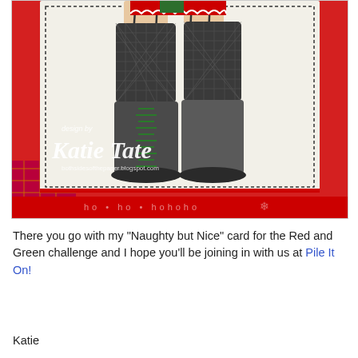[Figure (photo): Close-up photo of a handmade Christmas card featuring a character's legs wearing fishnet stockings and lace-up boots, with a red and white card background. Watermark text reads 'design by Katie Tate bothsidesofthepaper.blogspot.com'. Red border and bottom strip visible.]
There you go with my "Naughty but Nice" card for the Red and Green challenge and I hope you'll be joining in with us at Pile It On!
Katie